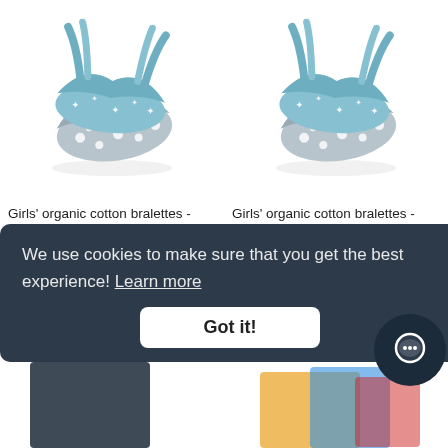[Figure (photo): Girls' organic cotton bralettes - light blue with white stars and cloud patterns, folded/stacked, left product]
[Figure (photo): Girls' organic cotton bralettes - light blue with white stars and cloud patterns, folded/stacked, right product]
Girls' organic cotton bralettes - Kira pack of 2 pick 'n' mix
£27.00 GBP
1 COLOUR
Girls' organic cotton bralettes - Jinja pack of 2 pick 'n' mix
£27.00 GBP
1 COLOUR
We use cookies to make sure that you get the best experience! Learn more
Got it!